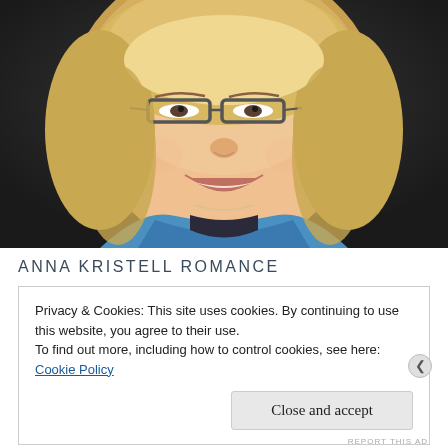[Figure (photo): Headshot portrait of a smiling woman with blonde bob hair and glasses, wearing a blue top, against a dark background.]
ANNA KRISTELL ROMANCE
Privacy & Cookies: This site uses cookies. By continuing to use this website, you agree to their use.
To find out more, including how to control cookies, see here:
Cookie Policy
Close and accept